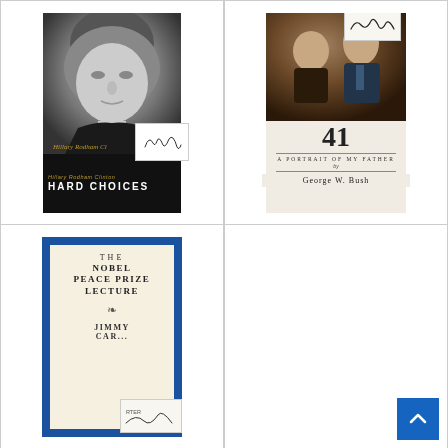[Figure (photo): Book cover: 'Hard Choices' by Hillary Rodham Clinton, with a black-and-white portrait photo of Hillary Clinton and a signature card overlay]
[Figure (photo): Book cover: '41: A Portrait of My Father' by George W. Bush, with a photo of two men and a signature card overlay]
[Figure (photo): Book cover: 'The Nobel Peace Prize Lecture' by Jimmy Carter, blue border, cream interior, with signature card overlay]
[Figure (photo): Empty cell with scroll-to-top button (blue square with white chevron)]